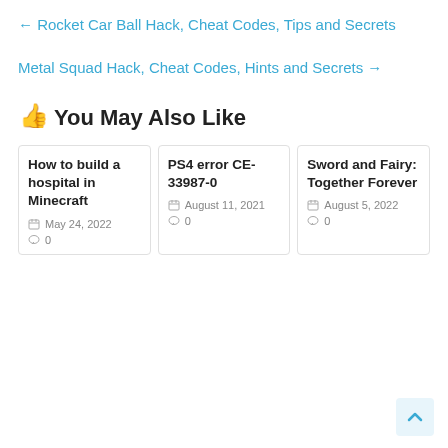← Rocket Car Ball Hack, Cheat Codes, Tips and Secrets
Metal Squad Hack, Cheat Codes, Hints and Secrets →
👍 You May Also Like
How to build a hospital in Minecraft
May 24, 2022
0
PS4 error CE-33987-0
August 11, 2021
0
Sword and Fairy: Together Forever
August 5, 2022
0